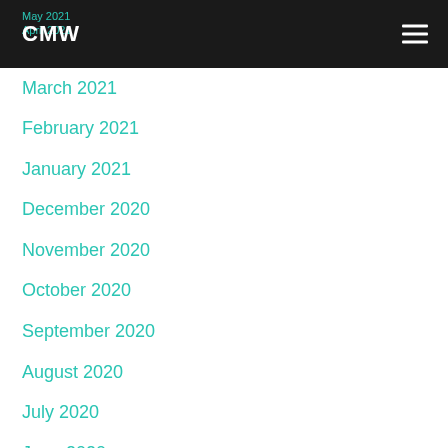CMW
March 2021
February 2021
January 2021
December 2020
November 2020
October 2020
September 2020
August 2020
July 2020
June 2020
May 2020
April 2020
March 2020